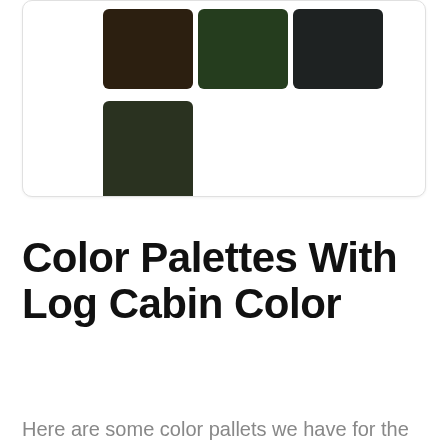[Figure (infographic): A card with color swatches: three swatches in the top row (dark brown, dark green, dark charcoal) and one larger swatch below (deep green), forming an L-shaped color palette layout.]
Color Palettes With Log Cabin Color
Here are some color pallets we have for the